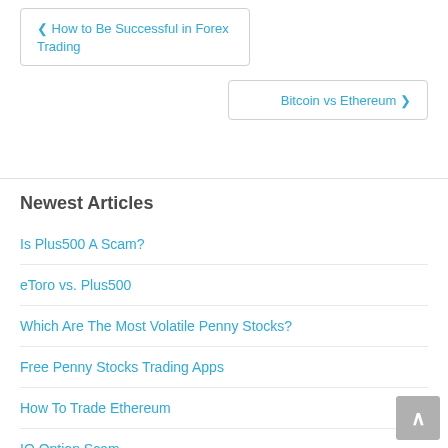❮ How to Be Successful in Forex Trading
Bitcoin vs Ethereum ❯
Newest Articles
Is Plus500 A Scam?
eToro vs. Plus500
Which Are The Most Volatile Penny Stocks?
Free Penny Stocks Trading Apps
How To Trade Ethereum
IQ Option Scam